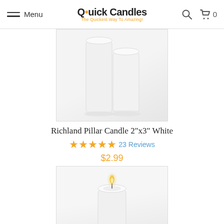Menu | Quick Candles – The Quickest Way To Amazing! | Search | Cart 0
[Figure (photo): White unlit pillar candle product image on light grey background, top portion visible]
Richland Pillar Candle 2"x3" White
★★★★★ 23 Reviews
$2.99
[Figure (photo): White pillar candle lit with flame on light grey background, full candle visible]